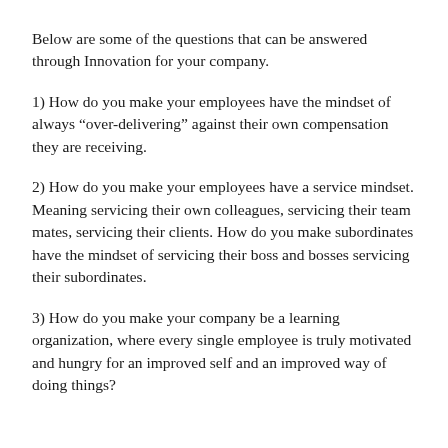Below are some of the questions that can be answered through Innovation for your company.
1) How do you make your employees have the mindset of always “over-delivering” against their own compensation they are receiving.
2) How do you make your employees have a service mindset. Meaning servicing their own colleagues, servicing their team mates, servicing their clients. How do you make subordinates have the mindset of servicing their boss and bosses servicing their subordinates.
3) How do you make your company be a learning organization, where every single employee is truly motivated and hungry for an improved self and an improved way of doing things?